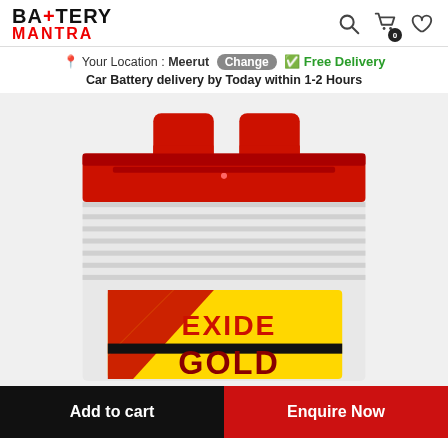[Figure (logo): Battery Mantra logo with bold black text BATTERY and red text MANTRA]
Your Location : Meerut Change ✓ Free Delivery
Car Battery delivery by Today within 1-2 Hours
[Figure (photo): Exide Gold car battery product image showing red top cover and white ribbed body with Exide Gold label in red and yellow colors]
Add to cart
Enquire Now